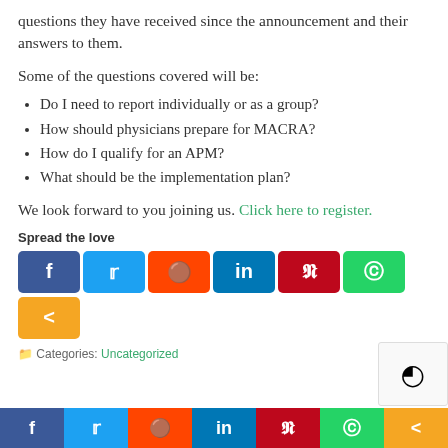questions they have received since the announcement and their answers to them.
Some of the questions covered will be:
Do I need to report individually or as a group?
How should physicians prepare for MACRA?
How do I qualify for an APM?
What should be the implementation plan?
We look forward to you joining us. Click here to register.
Spread the love
[Figure (infographic): Social media sharing buttons: Facebook, Twitter, Reddit, LinkedIn, Pinterest, WhatsApp, Share]
Categories: Uncategorized
[Figure (infographic): Bottom bar social media sharing buttons: Facebook, Twitter, Reddit, LinkedIn, Pinterest, WhatsApp, Share]